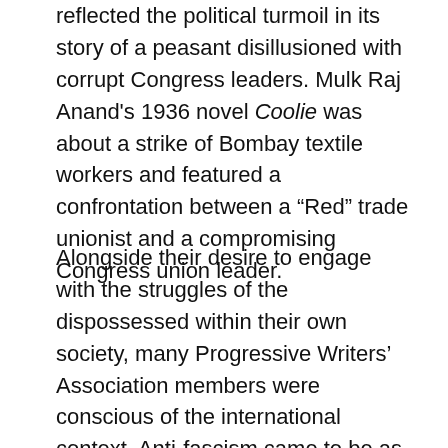reflected the political turmoil in its story of a peasant disillusioned with corrupt Congress leaders. Mulk Raj Anand's 1936 novel Coolie was about a strike of Bombay textile workers and featured a confrontation between a “Red” trade unionist and a compromising Congress union leader.
Alongside their desire to engage with the struggles of the dispossessed within their own society, many Progressive Writers' Association members were conscious of the international context. Anti-fascism came to be as much a part of their political identity as anti-imperialism and social radicalism. Before 1939 all the evidence seemed to point to the USSR as being the only state fighting fascism, in contrast to the Western democracies’ reconciliation with fascist aggression in Abyssinia, Spain, China and Czechoslovakia. They saw the USSR as an